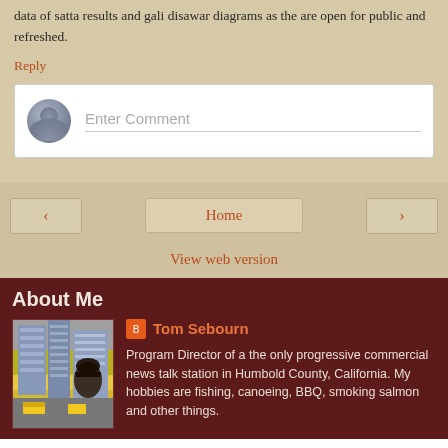data of satta results and gali disawar diagrams as the are open for public and refreshed.
Reply
[Figure (other): Comment input box with user avatar placeholder and 'Enter Comment' placeholder text]
[Figure (other): Navigation buttons: left arrow, Home, right arrow]
View web version
About Me
[Figure (photo): Photo of a city street scene with tall buildings and yellow taxis, person in foreground wearing hat]
Tom Sebourn
Program Director of a the only progressive commercial news talk station in Humbold County, California. My hobbies are fishing, canoeing, BBQ, smoking salmon and other things.